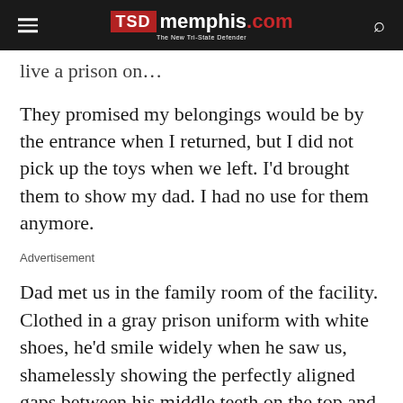TSD memphis.com — The New Tri-State Defender
live a prison on…
They promised my belongings would be by the entrance when I returned, but I did not pick up the toys when we left. I'd brought them to show my dad. I had no use for them anymore.
Advertisement
Dad met us in the family room of the facility. Clothed in a gray prison uniform with white shoes, he'd smile widely when he saw us, shamelessly showing the perfectly aligned gaps between his middle teeth on the top and bottom rows. For